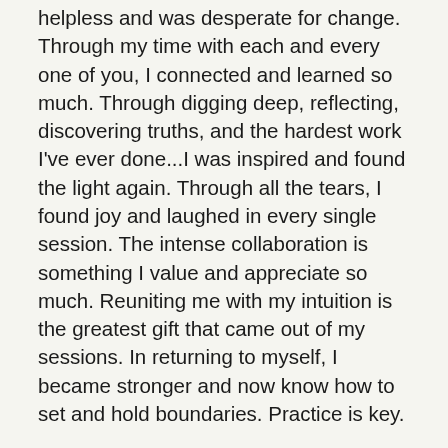helpless and was desperate for change. Through my time with each and every one of you, I connected and learned so much. Through digging deep, reflecting, discovering truths, and the hardest work I've ever done...I was inspired and found the light again. Through all the tears, I found joy and laughed in every single session. The intense collaboration is something I value and appreciate so much. Reuniting me with my intuition is the greatest gift that came out of my sessions. In returning to myself, I became stronger and now know how to set and hold boundaries. Practice is key.
The best news I have to share is that after 4+ years, I am finally divorced! Totally unexpectedly, our case was settled, no trial. I am free and it feels so good! So many incomparable joys and there are still dates